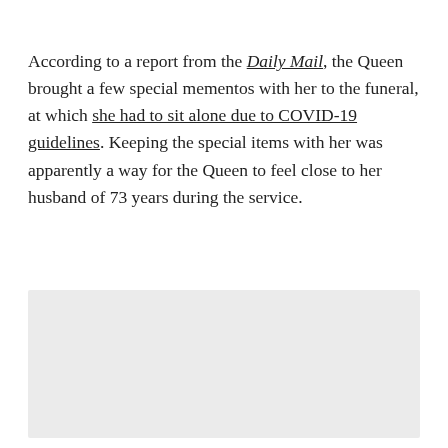According to a report from the Daily Mail, the Queen brought a few special mementos with her to the funeral, at which she had to sit alone due to COVID-19 guidelines. Keeping the special items with her was apparently a way for the Queen to feel close to her husband of 73 years during the service.
[Figure (other): Gray placeholder rectangle]